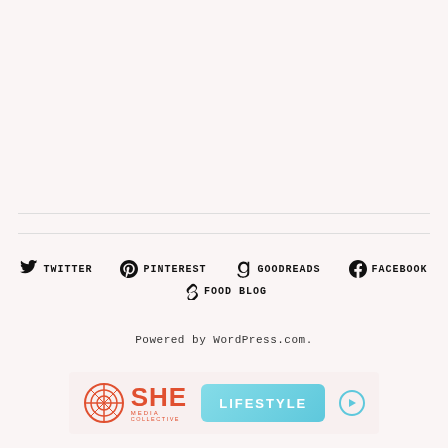TWITTER  PINTEREST  GOODREADS  FACEBOOK  FOOD BLOG
Powered by WordPress.com.
[Figure (logo): SHE Media Collective Lifestyle advertisement banner with orange SHE COLLECTIVE logo and teal LIFESTYLE button with play icon]